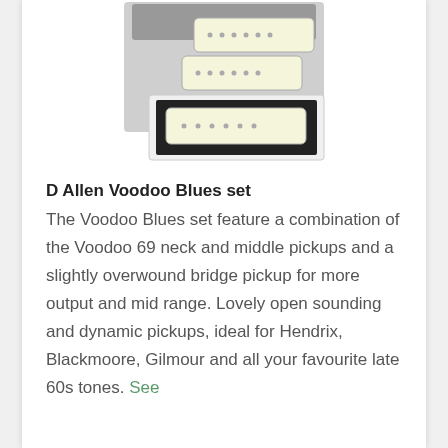[Figure (photo): Product photo of D Allen Voodoo Blues guitar pickup set in packaging box with three cream-colored single-coil pickups visible]
D Allen Voodoo Blues set
The Voodoo Blues set feature a combination of the Voodoo 69 neck and middle pickups and a slightly overwound bridge pickup for more output and mid range. Lovely open sounding and dynamic pickups, ideal for Hendrix, Blackmoore, Gilmour and all your favourite late 60s tones. See